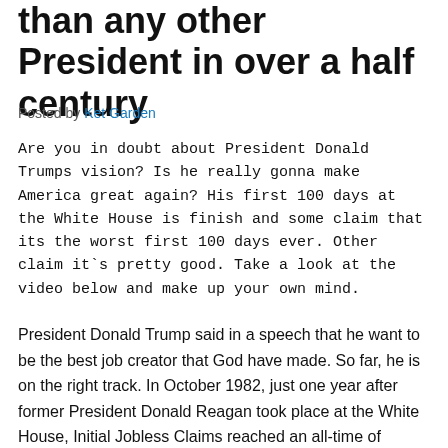than any other President in over a half century
Posted by Ket Garden
Are you in doubt about President Donald Trumps vision? Is he really gonna make America great again? His first 100 days at the White House is finish and some claim that its the worst first 100 days ever. Other claim it`s pretty good. Take a look at the video below and make up your own mind.
President Donald Trump said in a speech that he want to be the best job creator that God have made. So far, he is on the right track. In October 1982, just one year after former President Donald Reagan took place at the White House, Initial Jobless Claims reached an all-time of